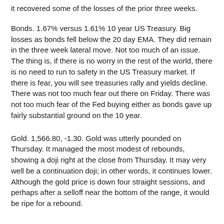it recovered some of the losses of the prior three weeks.
Bonds. 1.67% versus 1.61% 10 year US Treasury. Big losses as bonds fell below the 20 day EMA. They did remain in the three week lateral move. Not too much of an issue. The thing is, if there is no worry in the rest of the world, there is no need to run to safety in the US Treasury market. If there is fear, you will see treasuries rally and yields decline. There was not too much fear out there on Friday. There was not too much fear of the Fed buying either as bonds gave up fairly substantial ground on the 10 year.
Gold. 1,566.80, -1.30. Gold was utterly pounded on Thursday. It managed the most modest of rebounds, showing a doji right at the close from Thursday. It may very well be a continuation doji; in other words, it continues lower. Although the gold price is down four straight sessions, and perhaps after a selloff near the bottom of the range, it would be ripe for a rebound.